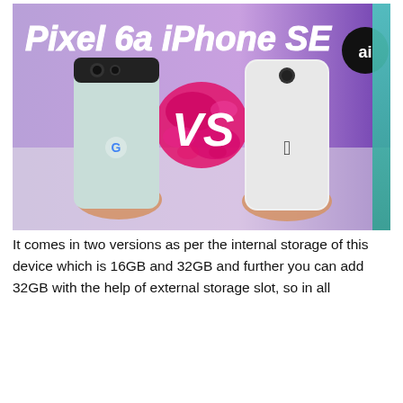[Figure (photo): Comparison image showing Google Pixel 6a vs iPhone SE. Two hands hold the respective phones against a gradient purple-pink background. Large white italic text reads 'Pixel 6a iPhone SE' with a 'VS' graphic in the center with pink paint splatter. A circular 'ai' logo appears in the top right.]
It comes in two versions as per the internal storage of this device which is 16GB and 32GB and further you can add 32GB with the help of external storage slot, so in all